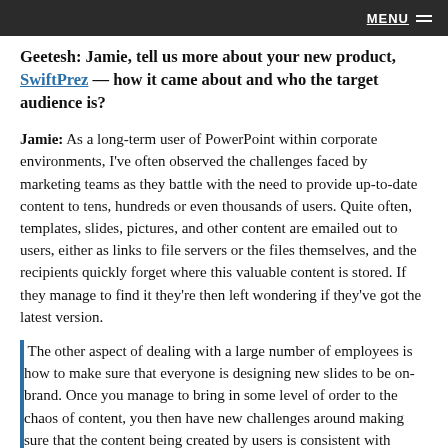MENU
Geetesh: Jamie, tell us more about your new product, SwiftPrez — how it came about and who the target audience is?
Jamie: As a long-term user of PowerPoint within corporate environments, I've often observed the challenges faced by marketing teams as they battle with the need to provide up-to-date content to tens, hundreds or even thousands of users. Quite often, templates, slides, pictures, and other content are emailed out to users, either as links to file servers or the files themselves, and the recipients quickly forget where this valuable content is stored. If they manage to find it they're then left wondering if they've got the latest version.
The other aspect of dealing with a large number of employees is how to make sure that everyone is designing new slides to be on-brand. Once you manage to bring in some level of order to the chaos of content, you then have new challenges around making sure that the content being created by users is consistent with existing brand standards.